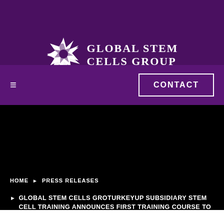[Figure (logo): Global Stem Cells Group logo with white star/snowflake icon and serif text]
CONTACT
HOME ▶ PRESS RELEASES
▶ GLOBAL STEM CELLS GROTURKEYUP SUBSIDIARY STEM CELL TRAINING ANNOUNCES FIRST TRAINING COURSE TO TAKE PLACE IN TURKEY